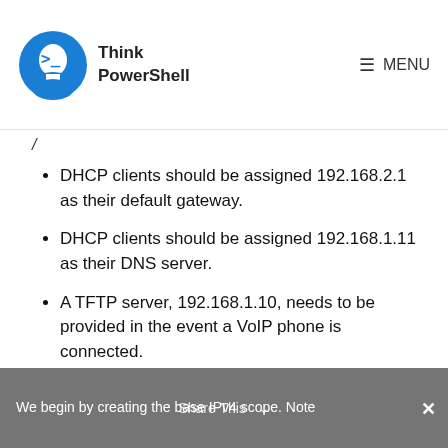Think PowerShell | MENU
DHCP clients should be assigned 192.168.2.1 as their default gateway.
DHCP clients should be assigned 192.168.1.11 as their DNS server.
A TFTP server, 192.168.1.10, needs to be provided in the event a VoIP phone is connected.
Create the scope
Share This   We begin by creating the base IPv4 scope. Note